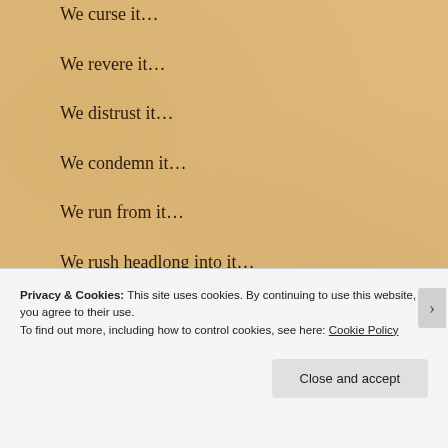We curse it…
We revere it…
We distrust it…
We condemn it…
We run from it…
We rush headlong into it…
We shun it…
We refute it…
Privacy & Cookies: This site uses cookies. By continuing to use this website, you agree to their use.
To find out more, including how to control cookies, see here: Cookie Policy
Close and accept